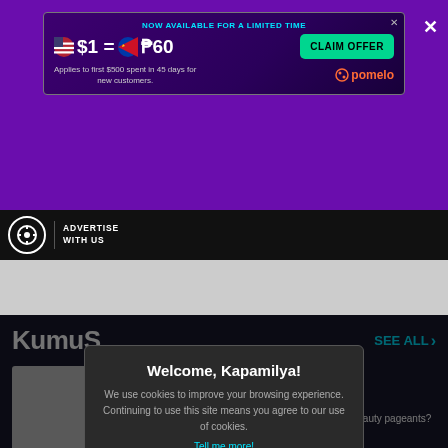[Figure (infographic): Advertisement banner: NOW AVAILABLE FOR A LIMITED TIME. $1 = ₱60. Applies to first $500 spent in 45 days for new customers. CLAIM OFFER button. Pomelo logo.]
ADVERTISE WITH US
KumuS
SEE ALL >
nardo handles Ka
[Figure (photo): Gray placeholder thumbnail image]
Welcome, Kapamilya!
We use cookies to improve your browsing experience.
Continuing to use this site means you agree to our use of cookies.
Tell me more!
I AGREE!
Anji, interesado bang sumali sa beauty pageants? | KumuStar Ka